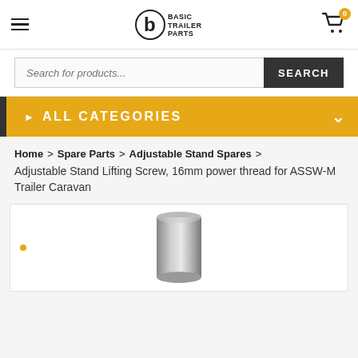Basic Trailer Parts — website header with logo, hamburger menu, and cart icon (0 items)
Search for products... SEARCH
ALL CATEGORIES
Home > Spare Parts > Adjustable Stand Spares > Adjustable Stand Lifting Screw, 16mm power thread for ASSW-M Trailer Caravan
[Figure (photo): Product photo of Adjustable Stand Lifting Screw, a cylindrical metal part, shown on white background inside a product image card.]